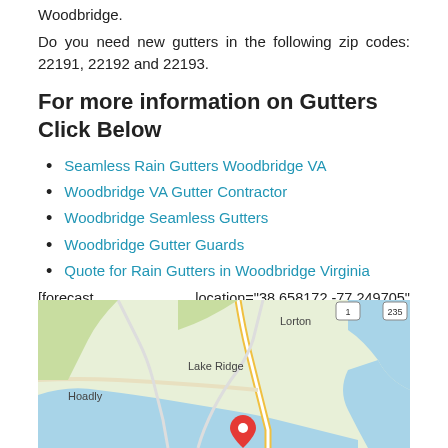Woodbridge.
Do you need new gutters in the following zip codes: 22191, 22192 and 22193.
For more information on Gutters Click Below
Seamless Rain Gutters Woodbridge VA
Woodbridge VA Gutter Contractor
Woodbridge Seamless Gutters
Woodbridge Gutter Guards
Quote for Rain Gutters in Woodbridge Virginia
[forecast location="38.658172,-77.249705" caption="Weather for Woodbridge" measurement='F' todaylabel="Today" datelabel="date('m/d/Y')" highlow='%%high%%°/%%low%%°' numdays="5" iconset="Contemporary" class="css_table_class" cache="true" width="100%"]
[Figure (map): Google map showing Woodbridge Virginia area with Lorton, Lake Ridge, Hoadly visible and a location pin marker]